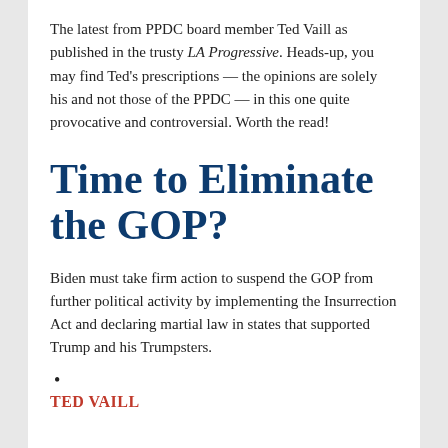The latest from PPDC board member Ted Vaill as published in the trusty LA Progressive. Heads-up, you may find Ted's prescriptions — the opinions are solely his and not those of the PPDC — in this one quite provocative and controversial. Worth the read!
Time to Eliminate the GOP?
Biden must take firm action to suspend the GOP from further political activity by implementing the Insurrection Act and declaring martial law in states that supported Trump and his Trumpsters.
TED VAILL